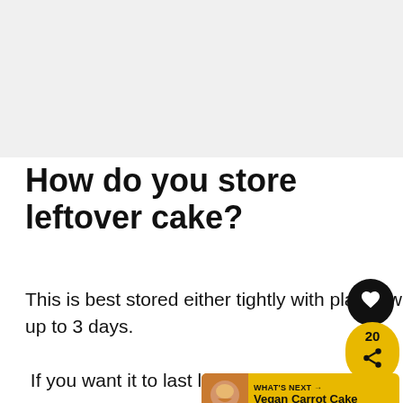[Figure (photo): Light gray placeholder area representing a recipe image at the top of the page]
How do you store leftover cake?
This is best stored either tightly with plastic wrap or in an airtight container on the counter for up to 3 days.
If you want it to last longer, you can place it in the fridge for up to 5 days.